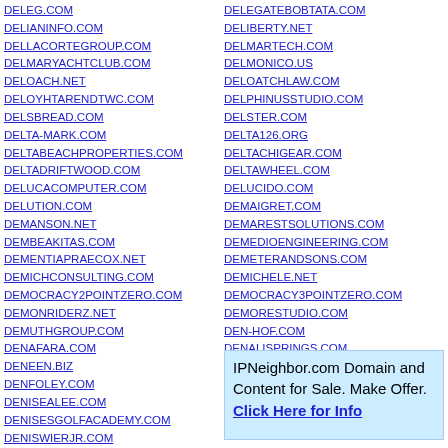DELEG.COM
DELIANINFO.COM
DELLACORTEGROUP.COM
DELMARYACHTCLUB.COM
DELOACH.NET
DELOYHTARENDTWC.COM
DELSBREAD.COM
DELTA-MARK.COM
DELTABEACHPROPERTIES.COM
DELTADRIFTWOOD.COM
DELUCACOMPUTER.COM
DELUTION.COM
DEMANSON.NET
DEMBEAKITAS.COM
DEMENTIAPRAECOX.NET
DEMICHCONSULTING.COM
DEMOCRACY2POINTZERO.COM
DEMONRIDERZ.NET
DEMUTHGROUP.COM
DENAFARA.COM
DENEEN.BIZ
DENFOLEY.COM
DENISEALEE.COM
DENISESGOLFACADEMY.COM
DENISWIERJR.COM
DENNIS-WOOD.COM
DENNISHADDAD.COM
DENNISJACOBS.COM
DELEGATEBOBTATA.COM
DELIBERTY.NET
DELMARTECH.COM
DELMONICO.US
DELOATCHLAW.COM
DELPHINUSSTUDIO.COM
DELSTER.COM
DELTA126.ORG
DELTACHIGEAR.COM
DELTAWHEEL.COM
DELUCIDO.COM
DEMAIGRET.COM
DEMARESTSOLUTIONS.COM
DEMEDIOENGINEERING.COM
DEMETERANDSONS.COM
DEMICHELE.NET
DEMOCRACY3POINTZERO.COM
DEMORESTUDIO.COM
DEN-HOF.COM
DENALISPRINGS.COM
DENEENENGINEERING.COM
DENICAIERI.COM
DENISEBRADYANDASSOCIATES
IPNeighbor.com Domain and Content for Sale. Make Offer. Click Here for Info